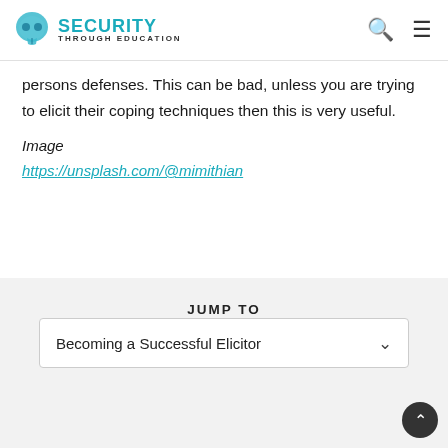SECURITY THROUGH EDUCATION
persons defenses. This can be bad, unless you are trying to elicit their coping techniques then this is very useful.
Image
https://unsplash.com/@mimithian
JUMP TO
Becoming a Successful Elicitor